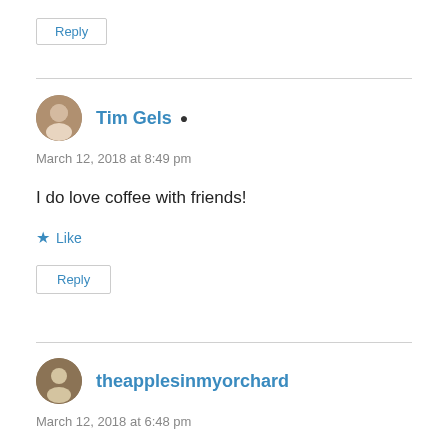Reply
Tim Gels
March 12, 2018 at 8:49 pm
I do love coffee with friends!
Like
Reply
theapplesinmyorchard
March 12, 2018 at 6:48 pm